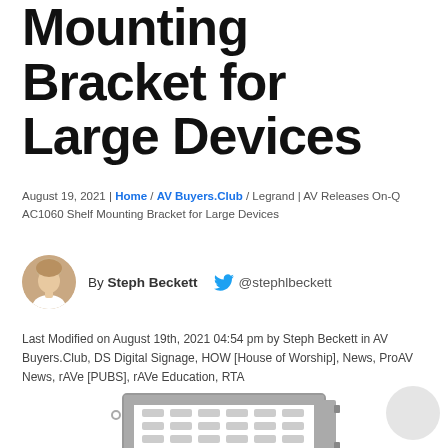Mounting Bracket for Large Devices
August 19, 2021 | Home / AV Buyers.Club / Legrand | AV Releases On-Q AC1060 Shelf Mounting Bracket for Large Devices
By Steph Beckett @stephlbeckett
Last Modified on August 19th, 2021 04:54 pm by Steph Beckett in AV Buyers.Club, DS Digital Signage, HOW [House of Worship], News, ProAV News, rAVe [PUBS], rAVe Education, RTA
[Figure (photo): Product photo of the On-Q AC1060 shelf mounting bracket for large devices, a metal grey rack shelf with ventilation slots]